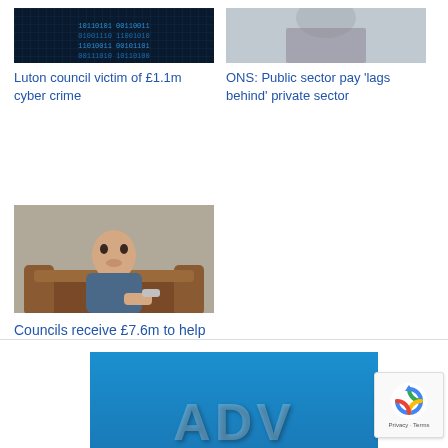[Figure (photo): Cyber crime themed image with dark blue digital background]
Luton council victim of £1.1m cyber crime
[Figure (photo): Blurred person in background, light tones, public sector pay article image]
ONS: Public sector pay 'lags behind' private sector
[Figure (photo): Man sitting on brown leather sofa holding a remote control or phone]
Councils receive £7.6m to help people with autism into work
[Figure (photo): Blue banner advertisement partially visible at bottom of page with large white letters]
[Figure (logo): reCAPTCHA badge with circular logo and Privacy - Terms text]